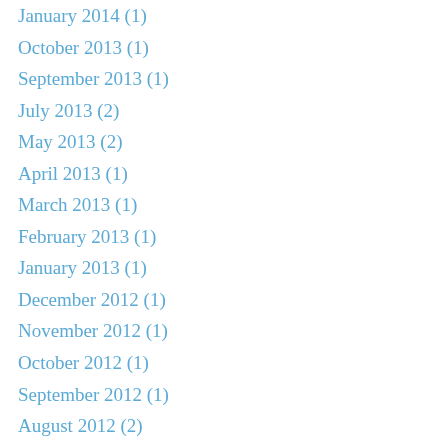January 2014 (1)
October 2013 (1)
September 2013 (1)
July 2013 (2)
May 2013 (2)
April 2013 (1)
March 2013 (1)
February 2013 (1)
January 2013 (1)
December 2012 (1)
November 2012 (1)
October 2012 (1)
September 2012 (1)
August 2012 (2)
July 2012 (2)
June 2012 (2)
May 2012 (1)
April 2012 (2)
March 2012 (4)
February 2012 (2)